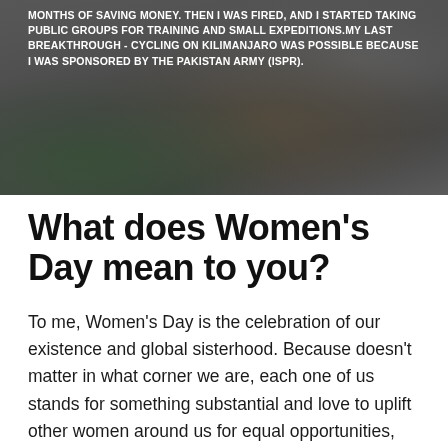[Figure (photo): A photo of a cyclist or outdoor expedition scene, partially overlaid with a dark semi-transparent overlay containing bold white uppercase text describing a personal story about saving money, being fired, training with public groups, and cycling on Kilimanjaro sponsored by Pakistan Army (ISPR).]
What does Women's Day mean to you?
To me, Women's Day is the celebration of our existence and global sisterhood. Because doesn't matter in what corner we are, each one of us stands for something substantial and love to uplift other women around us for equal opportunities, respect, and blessings that we deserve. And we educate each